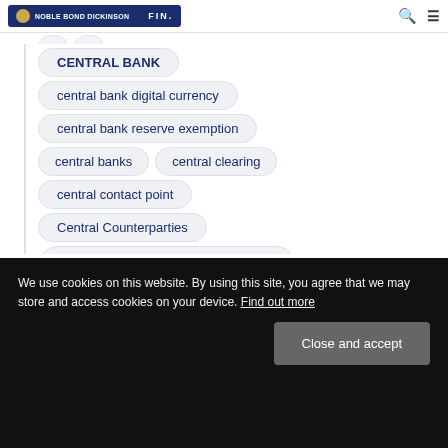NOBLE BOND DICKINSON | FIN.
CENTRAL BANK
central bank digital currency
central bank reserve exemption
central banks
central clearing
central contact point
Central Counterparties
central securities depositories regulation
CEO certification
Certification Regime
We use cookies on this website. By using this site, you agree that we may store and access cookies on your device. Find out more